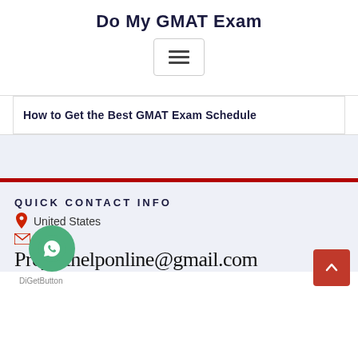Do My GMAT Exam
[Figure (other): Hamburger/menu button icon with three horizontal bars inside a rounded rectangle border]
How to Get the Best GMAT Exam Schedule
QUICK CONTACT INFO
United States
[Figure (other): WhatsApp chat bubble icon, green circle]
Projecthelponline@gmail.com